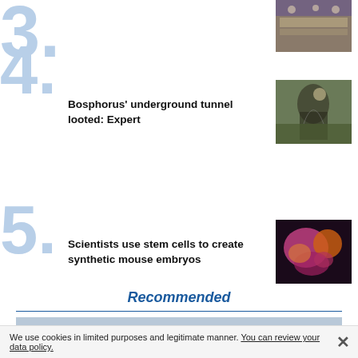[Figure (photo): Meeting or conference scene with people seated at a table]
Bosphorus’ underground tunnel looted: Expert
[Figure (photo): Person in dark clothing in underground tunnel or cave]
Scientists use stem cells to create synthetic mouse embryos
[Figure (photo): Colorful fluorescent synthetic mouse embryo image]
Recommended
[Figure (photo): Sky and partial view of an aircraft, blue-gray tones]
We use cookies in limited purposes and legitimate manner. You can review your data policy.